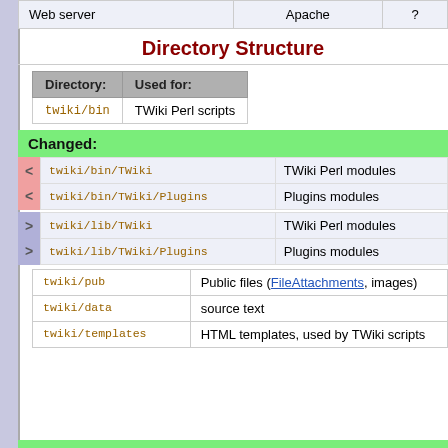| Web server | Apache | ? |
| --- | --- | --- |
Directory Structure
| Directory: | Used for: |
| --- | --- |
| twiki/bin | TWiki Perl scripts |
Changed:
| twiki/bin/TWiki | TWiki Perl modules |
| twiki/bin/TWiki/Plugins | Plugins modules |
| twiki/lib/TWiki | TWiki Perl modules |
| twiki/lib/TWiki/Plugins | Plugins modules |
| twiki/pub | Public files (FileAttachments, images) |
| twiki/data | source text |
| twiki/templates | HTML templates, used by TWiki scripts |